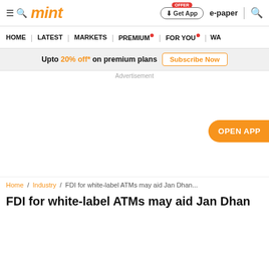mint
HOME | LATEST | MARKETS | PREMIUM | FOR YOU | WA
Upto 20% off* on premium plans Subscribe Now
Advertisement
[Figure (other): Advertisement space (blank white area)]
OPEN APP
Home / Industry / FDI for white-label ATMs may aid Jan Dhan...
FDI for white-label ATMs may aid Jan Dhan